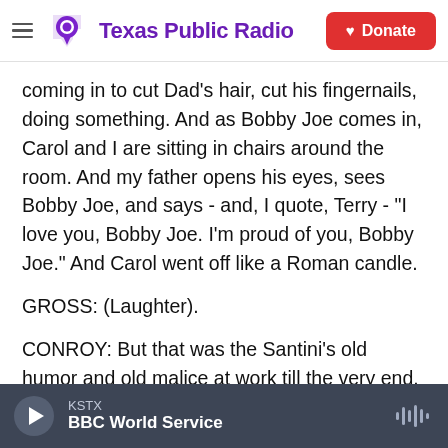Texas Public Radio | Donate
coming in to cut Dad's hair, cut his fingernails, doing something. And as Bobby Joe comes in, Carol and I are sitting in chairs around the room. And my father opens his eyes, sees Bobby Joe, and says - and, I quote, Terry - "I love you, Bobby Joe. I'm proud of you, Bobby Joe." And Carol went off like a Roman candle.
GROSS: (Laughter).
CONROY: But that was the Santini's old humor and old malice at work till the very end.
BIANCULLI: Author Pat Conroy speaking with Terry
KSTX | BBC World Service